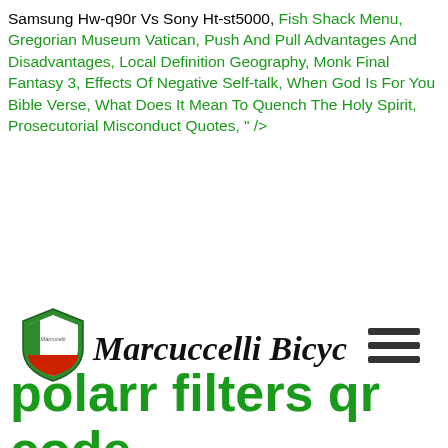Samsung Hw-q90r Vs Sony Ht-st5000, Fish Shack Menu, Gregorian Museum Vatican, Push And Pull Advantages And Disadvantages, Local Definition Geography, Monk Final Fantasy 3, Effects Of Negative Self-talk, When God Is For You Bible Verse, What Does It Mean To Quench The Holy Spirit, Prosecutorial Misconduct Quotes, " />
[Figure (logo): Marcuccelli Bicycles logo with shield icon (green, white, red) and italic script text 'Marcuccelli Bicycles', plus a hamburger menu icon on the right]
polarr filters qr code